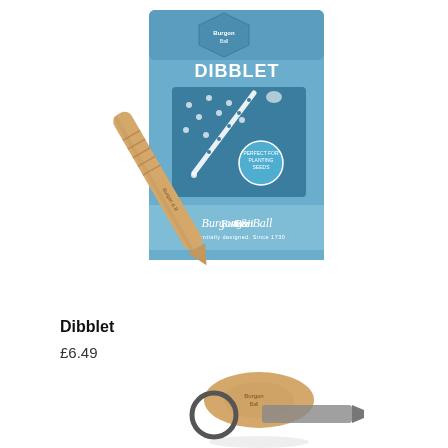[Figure (photo): Burgon & Ball Dibblet in blue retail packaging. The packaging is a blue cardboard display box with the Burgon & Ball logo at the top and 'DIBBLET' text in large letters. Inside the packaging there is an illustrated diagram showing how the dibblet is used for planting seeds. A wooden pointed dibber tool is propped in front of the packaging, branded with 'Burgon & Ball' text along the handle.]
Dibblet
£6.49
[Figure (photo): Bottom portion of a Burgon & Ball garden tool with a wooden handle and a metal ring/hook attachment, partially visible at the bottom of the page.]